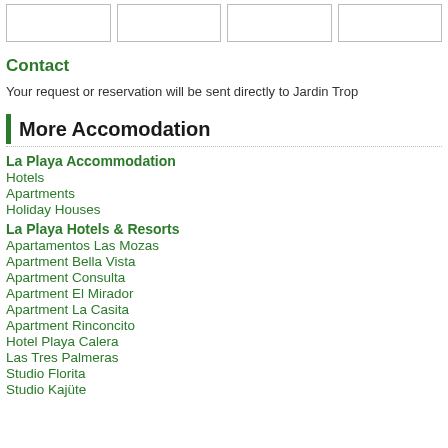|  |
Contact
Your request or reservation will be sent directly to Jardin Trop
More Accomodation
La Playa Accommodation
Hotels
Apartments
Holiday Houses
La Playa Hotels & Resorts
Apartamentos Las Mozas
Apartment Bella Vista
Apartment Consulta
Apartment El Mirador
Apartment La Casita
Apartment Rinconcito
Hotel Playa Calera
Las Tres Palmeras
Studio Florita
Studio Kajüte